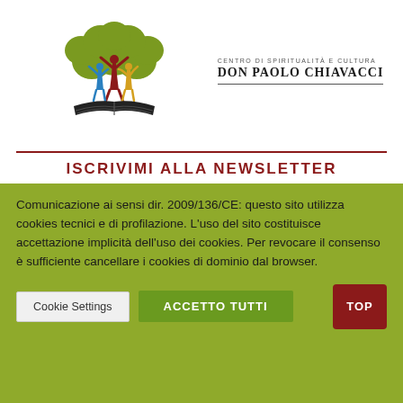[Figure (logo): Logo of Centro di Spiritualità e Cultura Don Paolo Chiavacci featuring a stylized tree with olive-green foliage, three human figures (blue, red, yellow) with arms raised, standing on an open book, with text 'CENTRO DI SPIRITUALITA' E CULTURA DON PAOLO CHIAVACCI' to the right]
ISCRIVIMI ALLA NEWSLETTER
Comunicazione ai sensi dir. 2009/136/CE: questo sito utilizza cookies tecnici e di profilazione. L'uso del sito costituisce accettazione implicità dell'uso dei cookies. Per revocare il consenso è sufficiente cancellare i cookies di dominio dal browser.
Cookie Settings | ACCETTO TUTTI | TOP